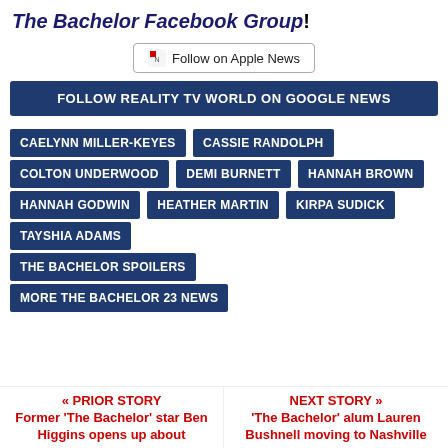The Bachelor Facebook Group!
[Figure (other): Follow on Apple News button]
FOLLOW REALITY TV WORLD ON GOOGLE NEWS
CAELYNN MILLER-KEYES
CASSIE RANDOLPH
COLTON UNDERWOOD
DEMI BURNETT
HANNAH BROWN
HANNAH GODWIN
HEATHER MARTIN
KIRPA SUDICK
TAYSHIA ADAMS
THE BACHELOR SPOILERS
MORE THE BACHELOR 23 NEWS
<< PRIOR STORY
Former 'The Bachelor' star Ben Higgins opens up about
NEXT STORY >>
'The Bachelor' alum Lauren Bushnell moving to Nashville